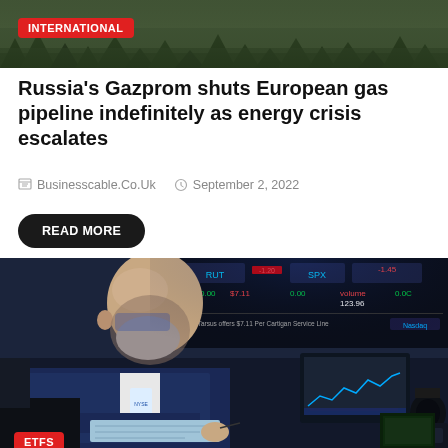[Figure (photo): Outdoor landscape/sky photo with trees silhouette, INTERNATIONAL badge overlay]
Russia's Gazprom shuts European gas pipeline indefinitely as energy crisis escalates
Businesscable.Co.Uk   September 2, 2022
READ MORE
[Figure (photo): Stock trader working at NYSE trading desk with financial screens in background showing stock tickers. ETFS badge in bottom left.]